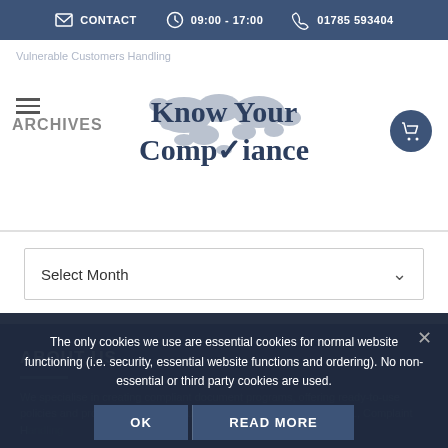CONTACT  09:00 - 17:00  01785 593404
[Figure (logo): Know Your Compliance logo with world map background]
ARCHIVES
Vulnerable Customers Handling
Select Month
ABOUT US
We specialise in creating compliant document programs, offering ready-to-use policies and procedures in areas such as GDPR, FCA, Info Sec, AML, Complaint Handling
The only cookies we use are essential cookies for normal website functioning (i.e. security, essential website functions and ordering). No non-essential or third party cookies are used.
OK  READ MORE